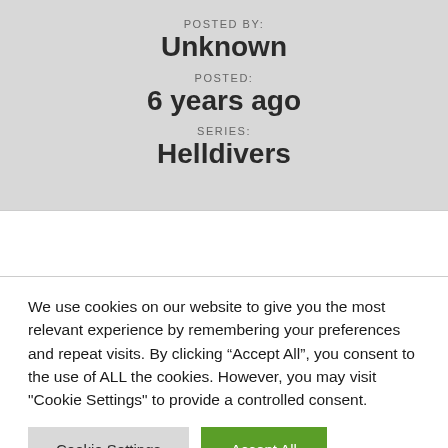POSTED BY:
Unknown
POSTED:
6 years ago
SERIES:
Helldivers
We use cookies on our website to give you the most relevant experience by remembering your preferences and repeat visits. By clicking “Accept All”, you consent to the use of ALL the cookies. However, you may visit "Cookie Settings" to provide a controlled consent.
Cookie Settings
Accept All